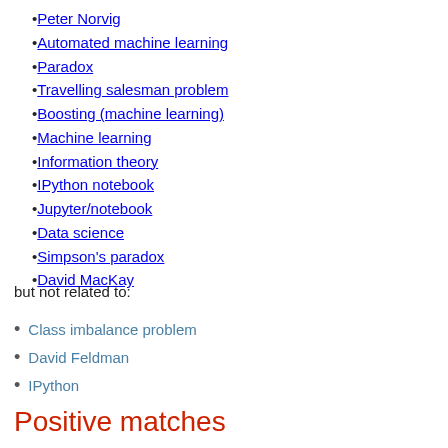Peter Norvig
Automated machine learning
Paradox
Travelling salesman problem
Boosting (machine learning)
Machine learning
Information theory
IPython notebook
Jupyter/notebook
Data science
Simpson's paradox
David MacKay
but not related to:
Class imbalance problem
David Feldman
IPython
Positive matches